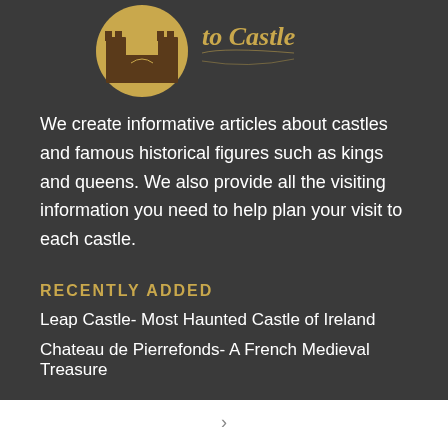[Figure (logo): Castle to Castle logo with a circular castle illustration in gold/brown tones, and stylized gothic text 'to Castle']
We create informative articles about castles and famous historical figures such as kings and queens. We also provide all the visiting information you need to help plan your visit to each castle.
RECENTLY ADDED
Leap Castle- Most Haunted Castle of Ireland
Chateau de Pierrefonds- A French Medieval Treasure